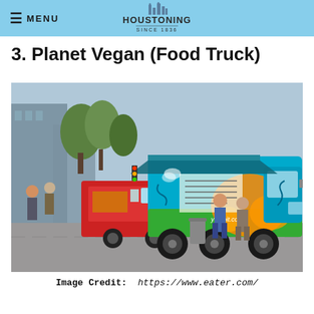≡ MENU   HOUSTONING SINCE 1836
3. Planet Vegan (Food Truck)
[Figure (photo): A colorful teal, green, and orange food truck (Planet Vegan) with its serving window open, two customers ordering food. A red food truck is visible behind it. Urban setting with trees and glass buildings in background.]
Image Credit:  https://www.eater.com/